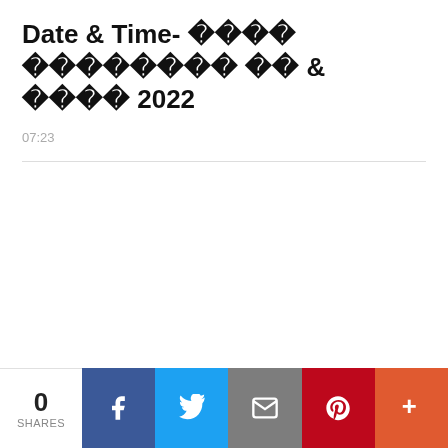Date & Time- ꯄꯣꯛꯆꯩ ꯀꯟꯅꯔꯕꯁꯤꯡ ꯑꯩ & ꯑꯤꯖꯤ 2022
07:23
0 SHARES | Facebook | Twitter | Email | Pinterest | More